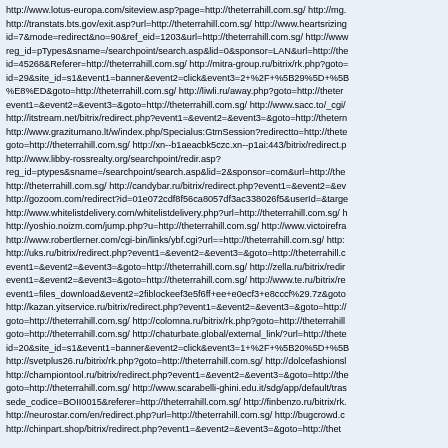http://www.lotus-europa.com/siteview.asp?page=http://theterrahill.com.sg/ http://mg. http://transtats.bts.gov/exit.asp?url=http://theterrahill.com.sg/ http://www.heartsrizing id=7&mode=redirect&no=90&ref_eid=1203&url=http://theterrahill.com.sg/ http://www reg_id=pTypes&sname=/searchpoint/search.asp&lid=0&sponsor=LAN&url=http://the id=45268&Referer=http://theterrahill.com.sg/ http://mitra-group.ru/bitrix/rk.php?goto= id=29&site_id=s1&event1=banner&event2=click&event3=2+%2F+%5B29%5D+%5B %E8%ED&goto=http://theterrahill.com.sg/ http://liwli.ru/away.php?goto=http://theter event1=&event2=&event3=&goto=http://theterrahill.com.sg/ http://www.sacc.to/_cgi/ http://itstream.net/bitrix/redirect.php?event1=&event2=&event3=&goto=http://thetern http://www.grazitumano.lt/w/index.php/Specialus:GtmSession?redirectto=http://thete goto=http://theterrahill.com.sg/ http://xn--b1aeacbk5czc.xn--p1ai:443/bitrix/redirect.p http://www.libby-rossrealty.org/searchpoint/redir.asp? reg_id=ptypes&sname=/searchpoint/search.asp&lid=2&sponsor=com&url=http://the http://theterrahill.com.sg/ http://candybar.ru/bitrix/redirect.php?event1=&event2=&ev http://gozoom.com/redirect?id=01e072cdf8f56ca8057df3ac338026f5&userId=&targe http://www.whitelistdelivery.com/whitelistdelivery.php?url=http://theterrahill.com.sg/ h http://yoshio.noizm.com/jump.php?u=http://theterrahill.com.sg/ http://www.victoirefra http://www.robertlerner.com/cgi-bin/links/ybf.cgi?url==http://theterrahill.com.sg/ http: http://uks.ru/bitrix/redirect.php?event1=&event2=&event3=&goto=http://theterrahill.c event1=&event2=&event3=&goto=http://theterrahill.com.sg/ http://zella.ru/bitrix/redir event1=&event2=&event3=&goto=http://theterrahill.com.sg/ http://www.te.ru/bitrix/re event1=files_download&event2=2fiblockeef3e5f6ff+ee+e0ecf3+e8cccf%29.7z&goto http://kazan.yitservice.ru/bitrix/redirect.php?event1=&event2=&event3=&goto=http:// goto=http://theterrahill.com.sg/ http://colomna.ru/bitrix/rk.php?goto=http://theterrahill goto=http://theterrahill.com.sg/ http://chaturbate.global/external_link/?url=http://thete id=20&site_id=s1&event1=banner&event2=click&event3=1+%2F+%5B20%5D+%5B http://svetplus26.ru/bitrix/rk.php?goto=http://theterrahill.com.sg/ http://dolcefashionsl http://championtool.ru/bitrix/redirect.php?event1=&event2=&event3=&goto=http://the goto=http://theterrahill.com.sg/ http://www.scarabelli-ghini.edu.it/sdg/app/default/tras sede_codice=BOII0015&referer=http://theterrahill.com.sg/ http://finbenzo.ru/bitrix/rk. http://neurostar.com/en/redirect.php?url=http://theterrahill.com.sg/ http://bugcrowd.c http://chinpart.shop/bitrix/redirect.php?event1=&event2=&event3=&goto=http://thet